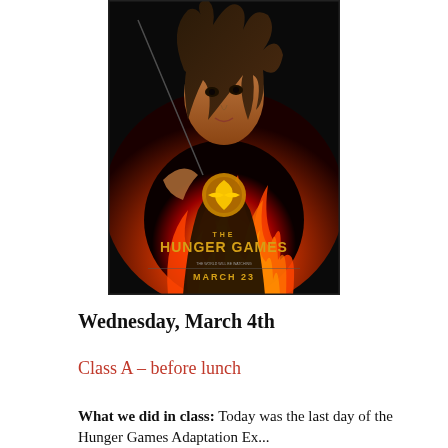[Figure (illustration): Movie poster for The Hunger Games. Shows a young woman aiming a bow and arrow, surrounded by flames. Text reads 'THE HUNGER GAMES' and 'MARCH 23' at the bottom.]
Wednesday, March 4th
Class A – before lunch
What we did in class: Today was the last day of the Hunger Games Adaptation Experience...